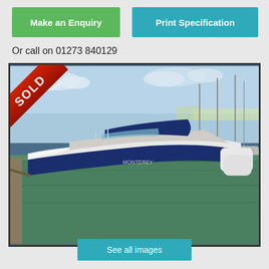Make an Enquiry
Print Specification
Or call on 01273 840129
[Figure (photo): A blue and white Monterey motorboat docked at a marina with sailboats in the background. A 'SOLD' ribbon banner is overlaid in the top-left corner.]
See all images